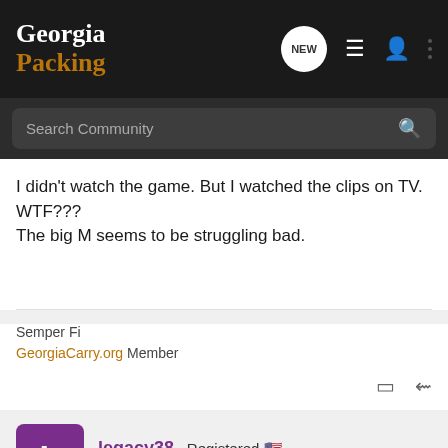Georgia Packing
Search Community
I didn't watch the game. But I watched the clips on TV. WTF???
The big M seems to be struggling bad.
Semper Fi
GeorgiaCarry.org Member
legacy38 · Registered
Joined Feb 21, 2005 · 9,075 Posts
#6 · Sep
[Figure (screenshot): Freedom Munitions advertisement banner: Quality, USA Made Ammo, New & Remanufactured]